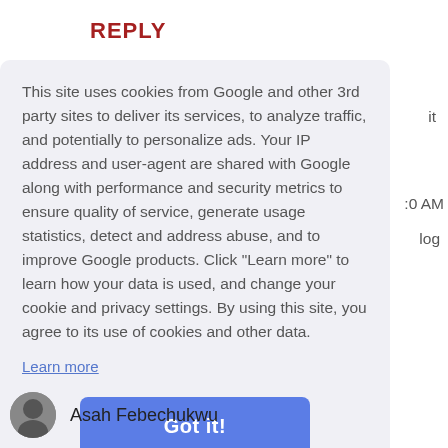REPLY
This site uses cookies from Google and other 3rd party sites to deliver its services, to analyze traffic, and potentially to personalize ads. Your IP address and user-agent are shared with Google along with performance and security metrics to ensure quality of service, generate usage statistics, detect and address abuse, and to improve Google products. Click "Learn more" to learn how your data is used, and change your cookie and privacy settings. By using this site, you agree to its use of cookies and other data.
Learn more
Got it!
Asah Febechukwu